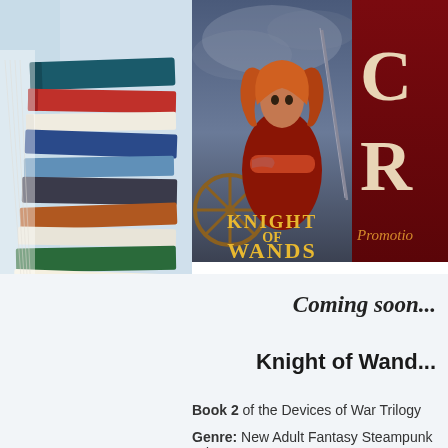[Figure (photo): Left sidebar showing a stack of books with colorful spines viewed from the side, light blue background]
[Figure (illustration): Book cover for 'Knight of Wands - Devices of War Trilogy Book 2' showing a red-haired woman at a ship's wheel, with a dark red promotional banner partially visible on the right saying 'Co Re' (Coming/Cover Release) and 'Promotio' (Promotion)]
Coming soon...
Knight of Wands
Book 2 of the Devices of War Trilogy
Genre: New Adult Fantasy Steampunk Adventure